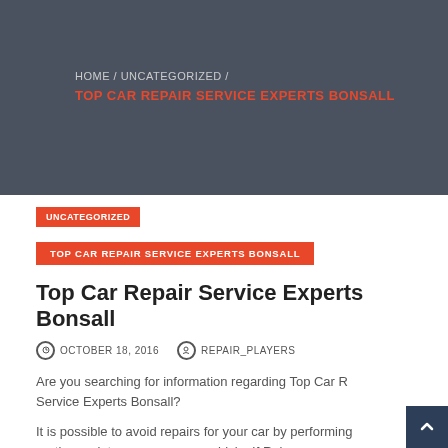HOME / UNCATEGORIZED / TOP CAR REPAIR SERVICE EXPERTS BONSALL
UNCATEGORIZED
TOP CAR REPAIR SERVICE EXPERTS BONSALL
Top Car Repair Service Experts Bonsall
OCTOBER 18, 2016   REPAIR_PLAYERS
Are you searching for information regarding Top Car Repair Service Experts Bonsall?
It is possible to avoid repairs for your car by performing routine maintenance on your vehicle. If Rel...